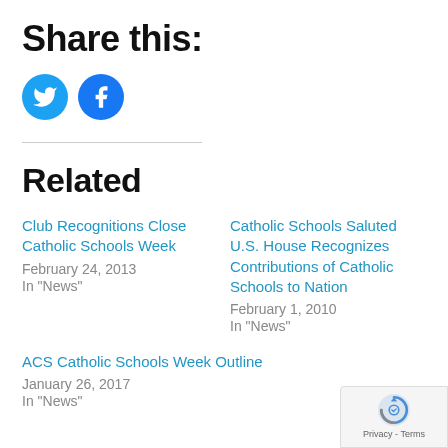Share this:
[Figure (illustration): Two circular social media buttons: Twitter (blue bird icon) and Facebook (blue F icon)]
Related
Club Recognitions Close Catholic Schools Week
February 24, 2013
In "News"
Catholic Schools Saluted U.S. House Recognizes Contributions of Catholic Schools to Nation
February 1, 2010
In "News"
ACS Catholic Schools Week Outline
January 26, 2017
In "News"